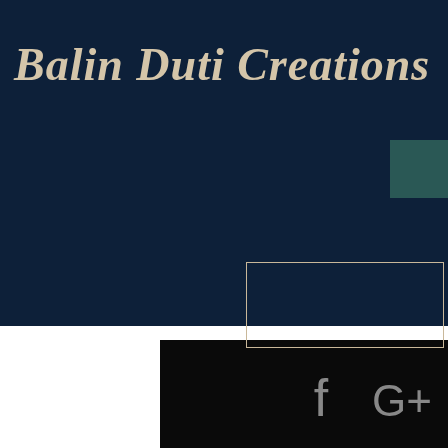Balin Duti Creations
[Figure (screenshot): Website header screenshot for Balin Duti Creations. Dark navy blue header background with brand name in cursive/italic beige font. Shopping bag icon with '0' and hamburger menu icon visible in navigation. Below header is black area with Facebook, Google+, and Instagram social media icons in grey.]